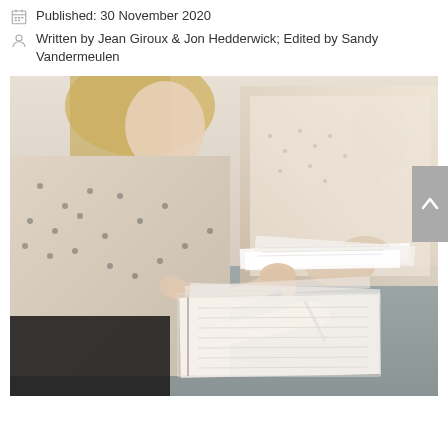Published: 30 November 2020
Written by Jean Giroux & Jon Hedderwick; Edited by Sandy Vandermeulen
[Figure (photo): Two people sitting at a gray table reviewing and signing documents. Person on left wears a polka-dot blouse, person on right wears a light patterned shirt. Papers and documents spread on the table. Office setting with plant in background.]